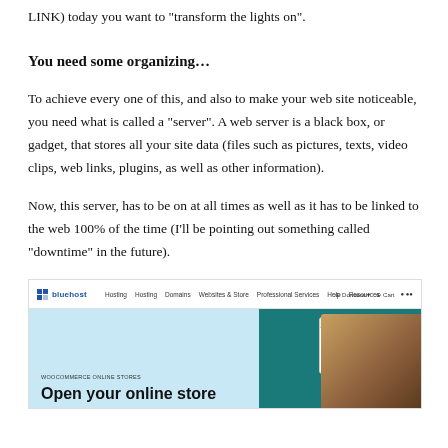LINK) today you want to “transform the lights on”.
You need some organizing…
To achieve every one of this, and also to make your web site noticeable, you need what is called a “server”. A web server is a black box, or gadget, that stores all your site data (files such as pictures, texts, video clips, web links, plugins, as well as other information).
Now, this server, has to be on at all times as well as it has to be linked to the web 100% of the time (I’ll be pointing out something called “downtime” in the future).
[Figure (screenshot): Bluehost website screenshot showing the homepage with navigation bar, and a banner reading 'Open your online store' with a person and board game imagery on the right side.]